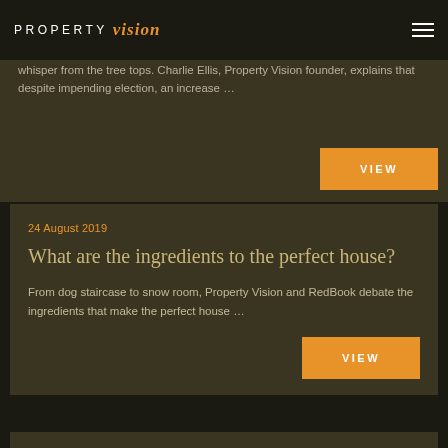PROPERTY vision
whisper from the tree tops. Charlie Ellis, Property Vision founder, explains that despite impending election, an increase …
VIEW
24 August 2019
What are the ingredients to the perfect house?
From dog staircase to snow room, Property Vision and RedBook debate the ingredients that make the perfect house …
VIEW